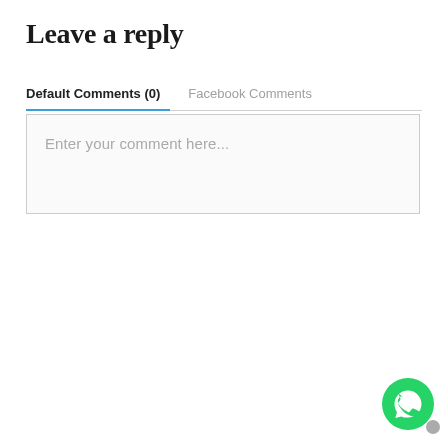Leave a reply
Default Comments (0)	Facebook Comments
Enter your comment here...
[Figure (logo): WhatsApp chat button icon — green circle with white phone handset inside a speech bubble]